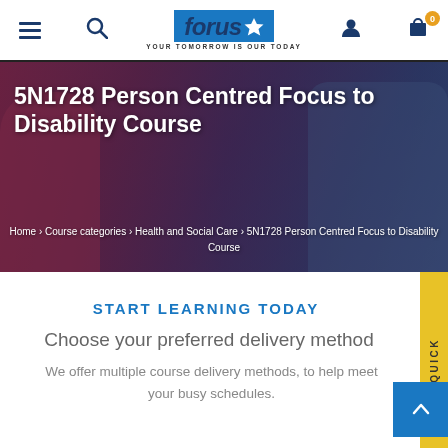[Figure (screenshot): Forus Training website navigation bar with hamburger menu, search icon, Forus Training logo, user account icon, and shopping cart icon with 0 badge]
[Figure (photo): Hero banner image showing a healthcare worker with a patient. Dark overlay with white text showing course title and breadcrumb navigation.]
5N1728 Person Centred Focus to Disability Course
Home › Course categories › Health and Social Care › 5N1728 Person Centred Focus to Disability Course
START LEARNING TODAY
Choose your preferred delivery method
We offer multiple course delivery methods, to help meet your busy schedules.